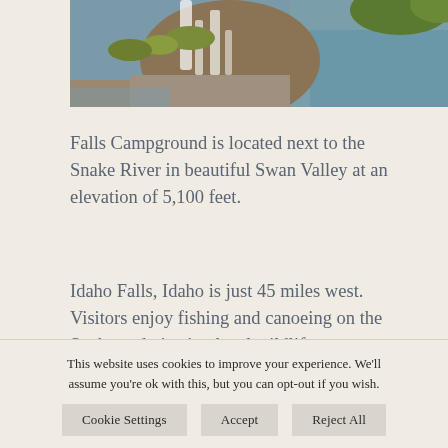[Figure (photo): Waterfall flowing over rocky cliff into a river, with green vegetation and calm blue-green water visible. Snake River area in Swan Valley, Idaho.]
Falls Campground is located next to the Snake River in beautiful Swan Valley at an elevation of 5,100 feet.
Idaho Falls, Idaho is just 45 miles west. Visitors enjoy fishing and canoeing on the Snake and viewing local wildlife.
This website uses cookies to improve your experience. We'll assume you're ok with this, but you can opt-out if you wish.
Cookie Settings | Accept | Reject All